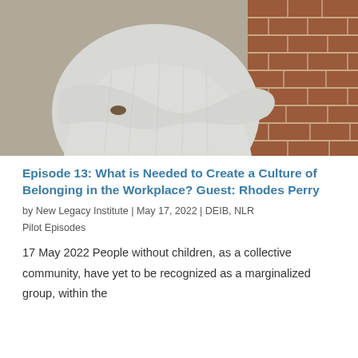[Figure (photo): Person in light grey ribbed sweater with arms crossed, leaning against a brick wall. Only torso and arms visible, no face shown.]
Episode 13: What is Needed to Create a Culture of Belonging in the Workplace? Guest: Rhodes Perry
by New Legacy Institute | May 17, 2022 | DEIB, NLR Pilot Episodes
17 May 2022 People without children, as a collective community, have yet to be recognized as a marginalized group, within the